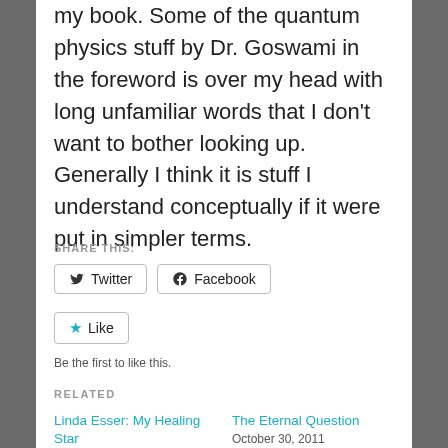my book. Some of the quantum physics stuff by Dr. Goswami in the foreword is over my head with long unfamiliar words that I don't want to bother looking up. Generally I think it is stuff I understand conceptually if it were put in simpler terms.
SHARE THIS:
Twitter  Facebook
Like
Be the first to like this.
RELATED
Linda Esser: My Healing Star
February 3, 2011
In "Denali Dragonfly"
The Eternal Question
October 30, 2011
In "cancer"